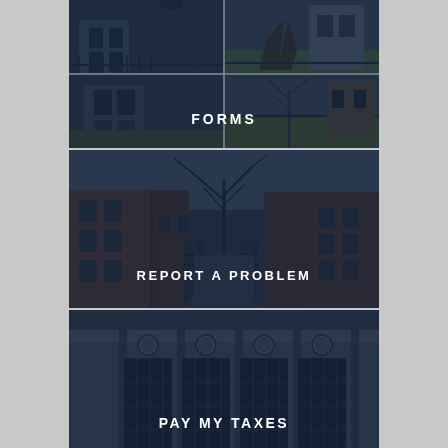[Figure (photo): 2x2 grid of urban/municipal photographs showing city buildings, bare trees, iron fences, and street scenes, overlaid with dark blue semi-transparent tint. Text 'FORMS' centered over the image.]
FORMS
[Figure (photo): Wide photograph of urban street scene with brick row houses, iron fence gates, bare trees, and a sidewalk path, overlaid with dark semi-transparent tint. Text 'REPORT A PROBLEM' centered over the image.]
REPORT A PROBLEM
[Figure (photo): Photograph of a municipal or government building facade showing tall windows with iron bars/grilles and decorative circular medallions, overlaid with dark semi-transparent tint. Text 'PAY MY TAXES' centered over the image.]
PAY MY TAXES